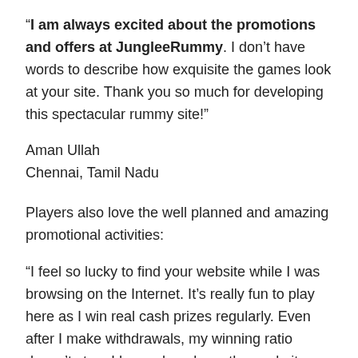“I am always excited about the promotions and offers at JungleeRummy. I don’t have words to describe how exquisite the games look at your site. Thank you so much for developing this spectacular rummy site!”
Aman Ullah
Chennai, Tamil Nadu
Players also love the well planned and amazing promotional activities:
“I feel so lucky to find your website while I was browsing on the Internet. It’s really fun to play here as I win real cash prizes regularly. Even after I make withdrawals, my winning ratio doesn’t stop. I have played on other websites before but now I don’t even want to visit those